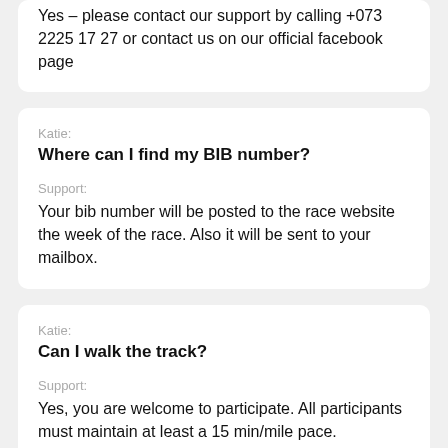Yes – please contact our support by calling +073 2225 17 27 or contact us on our official facebook page
Katie:
Where can I find my BIB number?
Support:
Your bib number will be posted to the race website the week of the race. Also it will be sent to your mailbox.
Katie:
Can I walk the track?
Support:
Yes, you are welcome to participate. All participants must maintain at least a 15 min/mile pace.